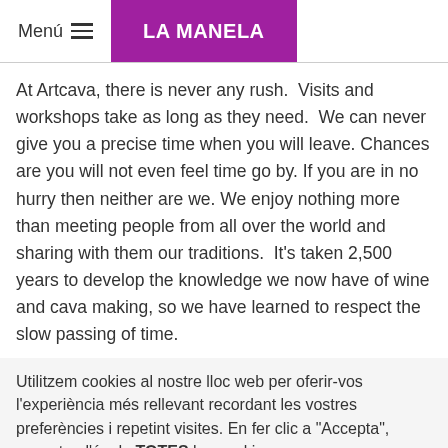Menú   LA MANELA
At Artcava, there is never any rush.  Visits and workshops take as long as they need.  We can never give you a precise time when you will leave. Chances are you will not even feel time go by. If you are in no hurry then neither are we. We enjoy nothing more than meeting people from all over the world and sharing with them our traditions.  It's taken 2,500 years to develop the knowledge we now have of wine and cava making, so we have learned to respect the slow passing of time.
Utilitzem cookies al nostre lloc web per oferir-vos l'experiència més rellevant recordant les vostres preferències i repetint visites. En fer clic a "Accepta", accepteu l'ús de TOTES les cookies.
Configuració de cookies   Acceptar tot